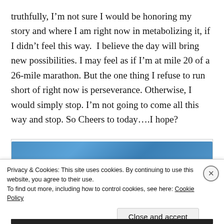truthfully, I'm not sure I would be honoring my story and where I am right now in metabolizing it, if I didn't feel this way.  I believe the day will bring new possibilities. I may feel as if I'm at mile 20 of a 26-mile marathon. But the one thing I refuse to run short of right now is perseverance. Otherwise, I would simply stop. I'm not going to come all this way and stop. So Cheers to today….I hope?
[Figure (photo): A photo with blue/teal gradient tones, partially visible inside a bordered container]
Privacy & Cookies: This site uses cookies. By continuing to use this website, you agree to their use.
To find out more, including how to control cookies, see here: Cookie Policy